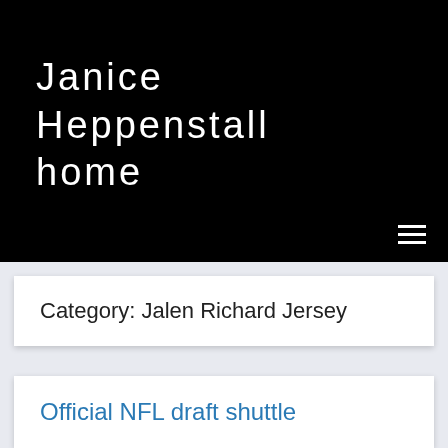Janice Heppenstall home
Category: Jalen Richard Jersey
Official NFL draft shuttle